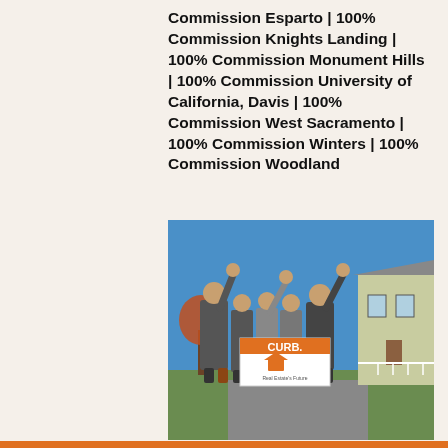Commission Esparto | 100% Commission Knights Landing | 100% Commission Monument Hills | 100% Commission University of California, Davis | 100% Commission West Sacramento | 100% Commission Winters | 100% Commission Woodland
[Figure (photo): A group of five real estate professionals in business attire celebrating with raised fists, holding a CURB Real Estate's Future sign in front of a large house with a blue sky background.]